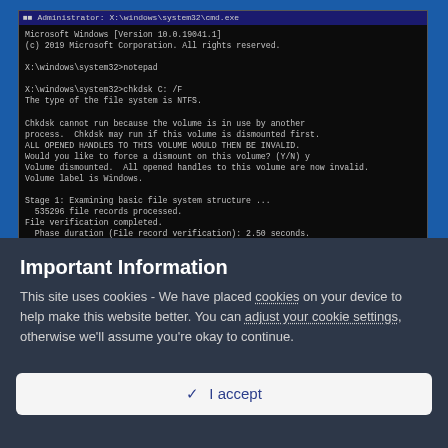[Figure (screenshot): Windows Command Prompt (Administrator: X:\windows\system32\cmd.exe) showing chkdsk C: /F output including file system type NTFS, volume dismount, and stage 1 file system structure examination progress.]
Important Information
This site uses cookies - We have placed cookies on your device to help make this website better. You can adjust your cookie settings, otherwise we'll assume you're okay to continue.
I accept